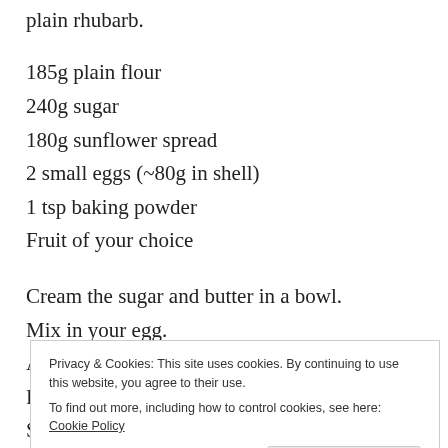plain rhubarb.
185g plain flour
240g sugar
180g sunflower spread
2 small eggs (~80g in shell)
1 tsp baking powder
Fruit of your choice
Cream the sugar and butter in a bowl.
Mix in your egg.
Add the flour and baking powder.
Pour into a greased baking tin.
Privacy & Cookies: This site uses cookies. By continuing to use this website, you agree to their use. To find out more, including how to control cookies, see here: Cookie Policy
Close and accept